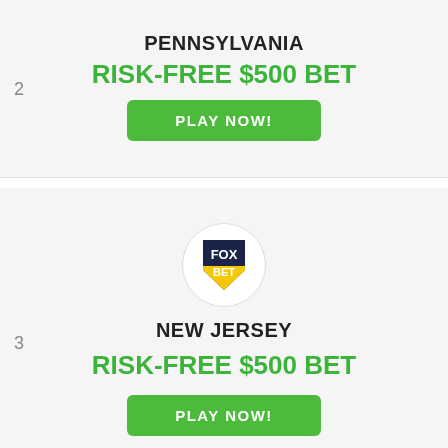2
PENNSYLVANIA
RISK-FREE $500 BET
PLAY NOW!
[Figure (logo): FOX BET logo — navy shield with FOX in white text, BET in white text on yellow background]
3
NEW JERSEY
RISK-FREE $500 BET
PLAY NOW!